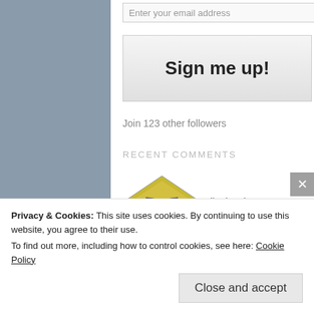Enter your email address
Sign me up!
Join 123 other followers
RECENT COMMENTS
[Figure (illustration): Cartoon avatar of jigoku zhoe - yellow pentagon-shaped face character]
jigoku zhoe on Mx0 – Premature End
[Figure (illustration): Cartoon avatar of chiva - purple/blue hexagon-shaped face character]
chiva on HA!! Meru ga Kiteru! Dore Dore…
[Figure (illustration): Cartoon avatar of meu - pink triangle-shaped face character]
meu on Mx0 – Premature End
Privacy & Cookies: This site uses cookies. By continuing to use this website, you agree to their use.
To find out more, including how to control cookies, see here: Cookie Policy
Close and accept